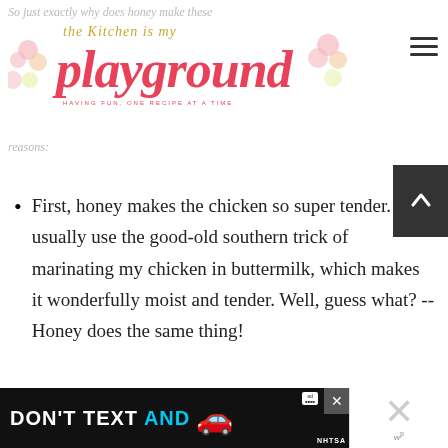So just exactly why does honey make these good? Two reasons:
[Figure (logo): The Kitchen is my playground blog logo with pink cupcake flowers and pink bold italic 'playground' text]
First, honey makes the chicken so super tender. I usually use the good-old southern trick of marinating my chicken in buttermilk, which makes it wonderfully moist and tender. Well, guess what? -- Honey does the same thing!
Second, the honey gives a
[Figure (screenshot): DON'T TEXT AND DRIVE advertisement banner with car emoji and NHTSA logo]